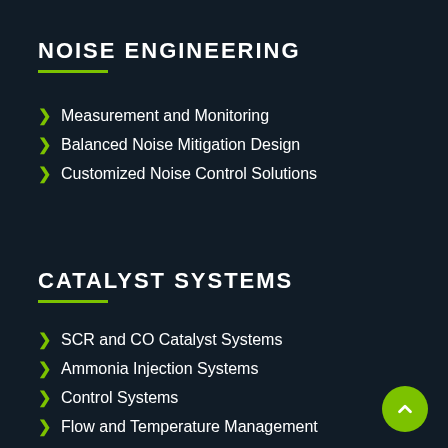NOISE ENGINEERING
Measurement and Monitoring
Balanced Noise Mitigation Design
Customized Noise Control Solutions
CATALYST SYSTEMS
SCR and CO Catalyst Systems
Ammonia Injection Systems
Control Systems
Flow and Temperature Management
Silencing and Thermal Stress Analysis